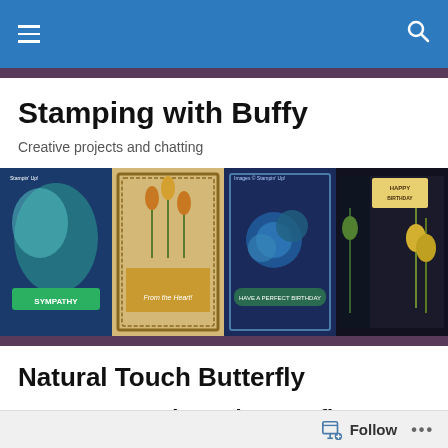Navigation bar with menu and search icons
Stamping with Buffy
Creative projects and chatting
[Figure (photo): Banner with four handmade stamped greeting cards displayed side by side]
Natural Touch Butterfly
Natural Touch Butterfly
Follow ...